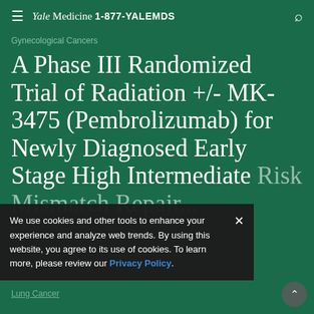Yale Medicine 1-877-YALEMDS
Gynecological Cancers
A Phase III Randomized Trial of Radiation +/- MK-3475 (Pembrolizumab) for Newly Diagnosed Early Stage High Intermediate Risk Mismatch Repair...
Date 11/05/2020
We use cookies and other tools to enhance your experience and analyze web trends. By using this website, you agree to its use of cookies. To learn more, please review our Privacy Policy.
Lung Cancer